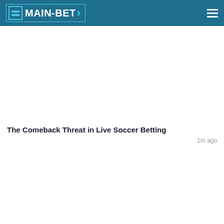MAIN-BET
The Comeback Threat in Live Soccer Betting
1m ago